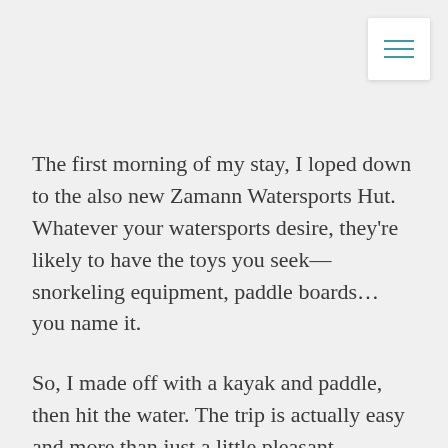[Figure (other): Hamburger menu icon button with three horizontal teal lines on white background, positioned top-right]
The first morning of my stay, I loped down to the also new Zamann Watersports Hut. Whatever your watersports desire, they're likely to have the toys you seek—snorkeling equipment, paddle boards… you name it.
So, I made off with a kayak and paddle, then hit the water. The trip is actually easy and more than just a little pleasant.
The cliff face you hug as you make your way…